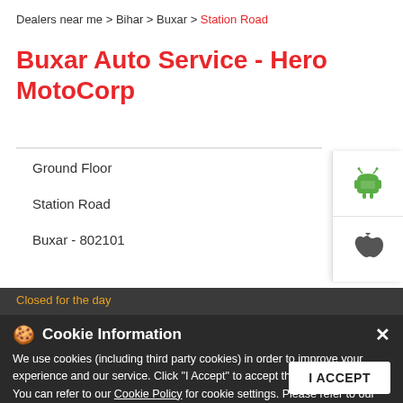Dealers near me > Bihar > Buxar > Station Road
Buxar Auto Service - Hero MotoCorp
Ground Floor
Station Road
Buxar - 802101
Closed for the day
Cookie Information
We use cookies (including third party cookies) in order to improve your experience and our service. Click "I Accept" to accept the cookie usage. You can refer to our Cookie Policy for cookie settings. Please refer to our Privacy Policy, Terms of Use, Disclaimer, Rules & Regulations and Data Collection Contract or more information on personal data usage.